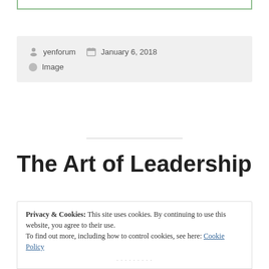yenforum   January 6, 2018
Image
The Art of Leadership
Privacy & Cookies: This site uses cookies. By continuing to use this website, you agree to their use.
To find out more, including how to control cookies, see here: Cookie Policy
Close and accept
[Figure (illustration): Partial illustration visible at bottom of page showing small cartoon-style figures]